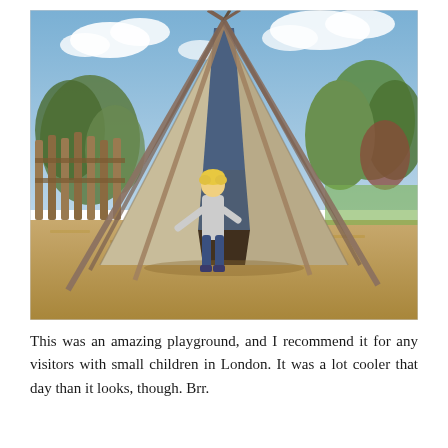[Figure (photo): A young blonde child standing in front of a large teepee/tipi structure in a playground outdoor area. The teepee is made of canvas (beige/tan) with a blue fabric panel at the top, supported by wooden poles. The background shows wooden fencing, green trees and bushes, sandy ground covered with wood chips, and a partly cloudy blue sky.]
This was an amazing playground, and I recommend it for any visitors with small children in London. It was a lot cooler that day than it looks, though. Brr.